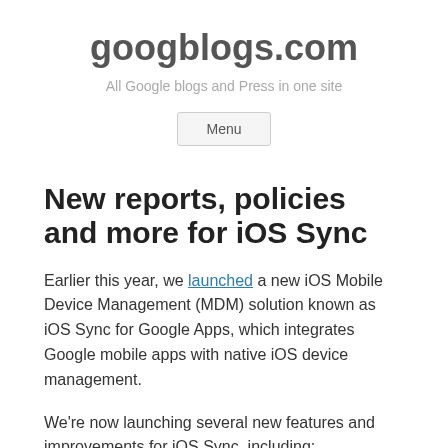googblogs.com
All Google blogs and Press in one site
Menu
New reports, policies and more for iOS Sync
Earlier this year, we launched a new iOS Mobile Device Management (MDM) solution known as iOS Sync for Google Apps, which integrates Google mobile apps with native iOS device management.
We're now launching several new features and improvements for iOS Sync, including: